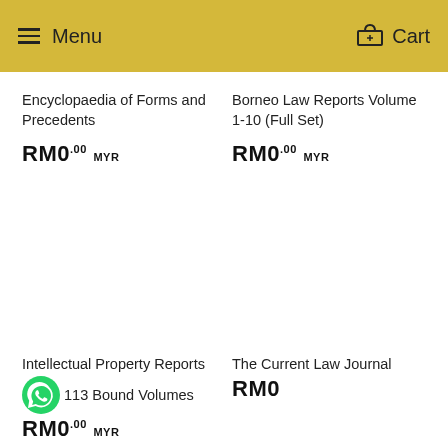Menu   Cart
Encyclopaedia of Forms and Precedents
RM0.00 MYR
Borneo Law Reports Volume 1-10 (Full Set)
RM0.00 MYR
Intellectual Property Reports Volume 1-113 Bound Volumes
RM0.00 MYR
The Current Law Journal
RM0.00 MYR